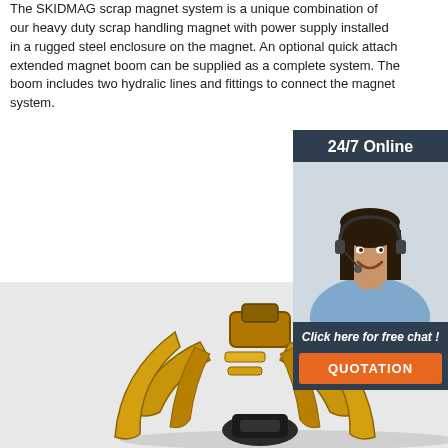The SKIDMAG scrap magnet system is a unique combination of our heavy duty scrap handling magnet with power supply installed in a rugged steel enclosure on the magnet. An optional quick attach extended magnet boom can be supplied as a complete system. The boom includes two hydralic lines and fittings to connect the magnet system.
Get Price
[Figure (photo): 24/7 Online banner with woman wearing headset and smiling, with 'Click here for free chat!' text and QUOTATION button]
[Figure (photo): Yellow industrial scrap handling grapple/claw attachment equipment on light grey background]